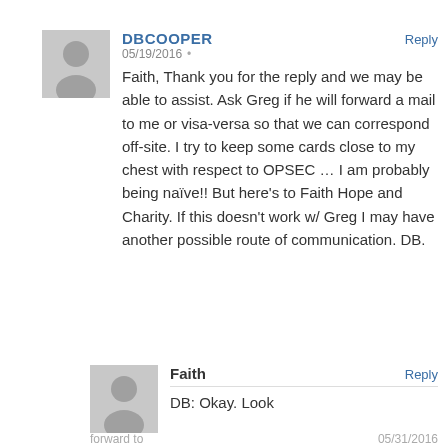[Figure (illustration): Generic user avatar silhouette (grey circle head and torso on grey background) for DBCOOPER comment]
DBCOOPER   Reply
05/19/2016 •
Faith, Thank you for the reply and we may be able to assist. Ask Greg if he will forward a mail to me or visa-versa so that we can correspond off-site. I try to keep some cards close to my chest with respect to OPSEC … I am probably being naïve!! But here's to Faith Hope and Charity. If this doesn't work w/ Greg I may have another possible route of communication. DB.
[Figure (illustration): Generic user avatar silhouette (grey circle head and torso on grey background) for Faith comment]
Faith   Reply
DB: Okay. Look
forward to   05/31/2016